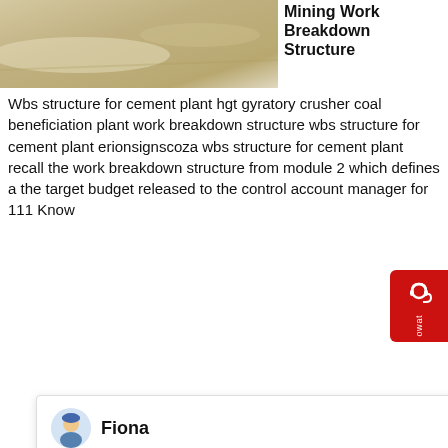[Figure (photo): Top image showing a sandy or mineral surface, partially visible at top of page]
Mining Work Breakdown Structure
Wbs structure for cement plant hgt gyratory crusher coal beneficiation plant work breakdown structure wbs structure for cement plant erionsignscoza wbs structure for cement plant recall the work breakdown structure from module 2 which defines a the target budget released to the control account manager for 111 Know
[Figure (screenshot): Chat popup widget with avatar of Fiona and close button (x)]
Fiona
Hello, I am Fiona, I am very glad to talk with you!
[Figure (photo): Yellow/orange industrial mining or crushing equipment on a construction site]
Plant Work Breakdown Structures
iron ore beneficiation plant work breakdown structures iron Facts, information, pictures, IRON. IRON. Iron is the second most abundant mineral on earth and . Get Price